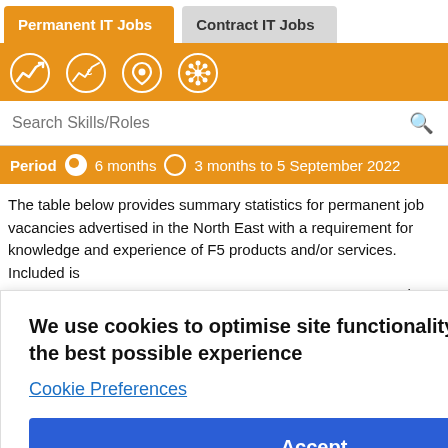Permanent IT Jobs | Contract IT Jobs
[Figure (screenshot): Orange toolbar with four white icons: trend chart, salary chart, location pin, and network/hub icon]
Search Skills/Roles
Period  6 months  3 months to 5 September 2022
The table below provides summary statistics for permanent job vacancies advertised in the North East with a requirement for knowledge and experience of F5 products and/or services. Included is [... at have ... parison to ... and are ...]
We use cookies to optimise site functionality and give you the best possible experience
Cookie Preferences
Accept
| 5 Sep 2022 | period 2021 | period 2020 | Same |
| --- | --- | --- | --- |